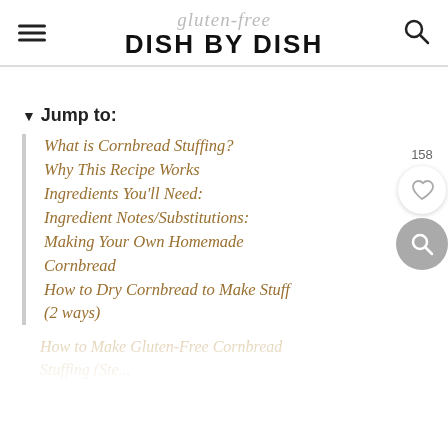gluten-free DISH BY DISH
▼ Jump to:
What is Cornbread Stuffing?
Why This Recipe Works
Ingredients You'll Need:
Ingredient Notes/Substitutions:
Making Your Own Homemade Cornbread
How to Dry Cornbread to Make Stuffing (2 ways)
How to Make Gluten-Free Cornbread Stuffing (Step-by-Step)